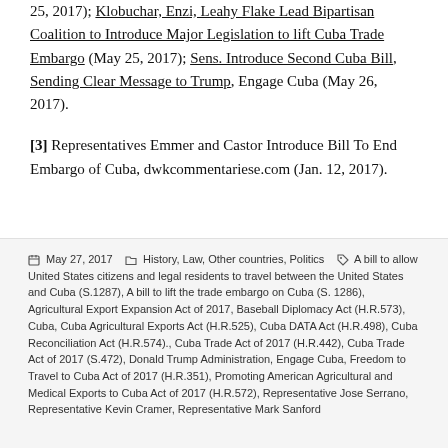25, 2017); Klobuchar, Enzi, Leahy Flake Lead Bipartisan Coalition to Introduce Major Legislation to lift Cuba Trade Embargo (May 25, 2017); Sens. Introduce Second Cuba Bill, Sending Clear Message to Trump, Engage Cuba (May 26, 2017).
[3] Representatives Emmer and Castor Introduce Bill To End Embargo of Cuba, dwkcommentariese.com (Jan. 12, 2017).
May 27, 2017   History, Law, Other countries, Politics   A bill to allow United States citizens and legal residents to travel between the United States and Cuba (S.1287), A bill to lift the trade embargo on Cuba (S. 1286), Agricultural Export Expansion Act of 2017, Baseball Diplomacy Act (H.R.573), Cuba, Cuba Agricultural Exports Act (H.R.525), Cuba DATA Act (H.R.498), Cuba Reconciliation Act (H.R.574)., Cuba Trade Act of 2017 (H.R.442), Cuba Trade Act of 2017 (S.472), Donald Trump Administration, Engage Cuba, Freedom to Travel to Cuba Act of 2017 (H.R.351), Promoting American Agricultural and Medical Exports to Cuba Act of 2017 (H.R.572), Representative Jose Serrano, Representative Kevin Cramer, Representative Mark Sanford